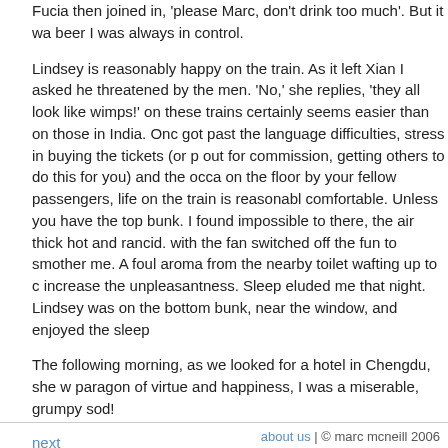Fucia then joined in, 'please Marc, don't drink too much'. But it wa... beer I was always in control.
Lindsey is reasonably happy on the train. As it left Xian I asked he... threatened by the men. 'No,' she replies, 'they all look like wimps!'... on these trains certainly seems easier than on those in India. Onc... got past the language difficulties, stress in buying the tickets (or p... out for commission, getting others to do this for you) and the occa... on the floor by your fellow passengers, life on the train is reasonabl... comfortable. Unless you have the top bunk. I found impossible to... there, the air thick hot and rancid. with the fan switched off the fun... to smother me. A foul aroma from the nearby toilet wafting up to c... increase the unpleasantness. Sleep eluded me that night. Lindsey... was on the bottom bunk, near the window, and enjoyed the sleep...
The following morning, as we looked for a hotel in Chengdu, she w... paragon of virtue and happiness, I was a miserable, grumpy sod!
next
about us | © marc mcneill 2006